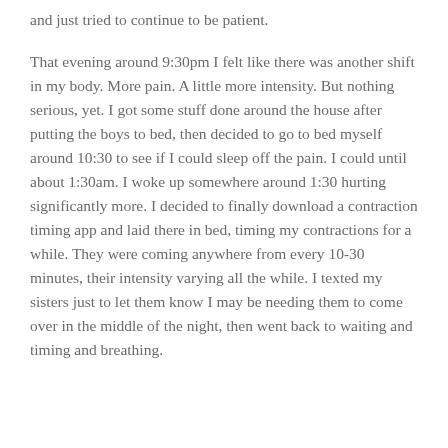and just tried to continue to be patient.
That evening around 9:30pm I felt like there was another shift in my body. More pain. A little more intensity. But nothing serious, yet. I got some stuff done around the house after putting the boys to bed, then decided to go to bed myself around 10:30 to see if I could sleep off the pain. I could until about 1:30am. I woke up somewhere around 1:30 hurting significantly more. I decided to finally download a contraction timing app and laid there in bed, timing my contractions for a while. They were coming anywhere from every 10-30 minutes, their intensity varying all the while. I texted my sisters just to let them know I may be needing them to come over in the middle of the night, then went back to waiting and timing and breathing.